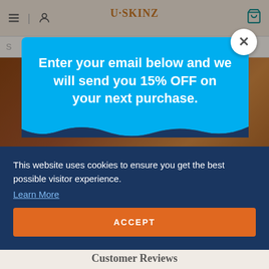USkinz website header with navigation icons and logo
[Figure (screenshot): Website screenshot showing USkinz e-commerce page with navigation bar, search bar, and product hero image in background]
Enter your email below and we will send you 15% OFF on your next purchase.
This website uses cookies to ensure you get the best possible visitor experience.
Learn More
ACCEPT
Customer Reviews